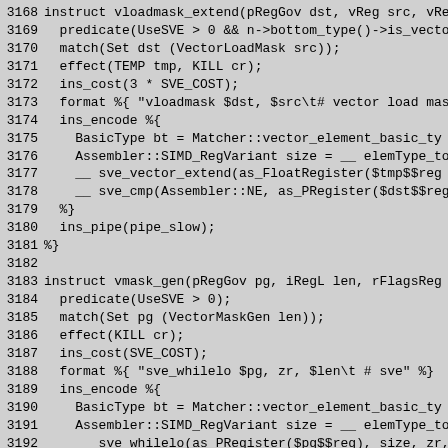3168 instruct vloadmask_extend(pRegGov dst, vReg src, vRe
3169   predicate(UseSVE > 0 && n->bottom_type()->is_vecto
3170   match(Set dst (VectorLoadMask src));
3171   effect(TEMP tmp, KILL cr);
3172   ins_cost(3 * SVE_COST);
3173   format %{ "vloadmask $dst, $src\t# vector load mas
3174   ins_encode %{
3175     BasicType bt = Matcher::vector_element_basic_ty
3176     Assembler::SIMD_RegVariant size = __ elemType_to
3177     __ sve_vector_extend(as_FloatRegister($tmp$$reg
3178     __ sve_cmp(Assembler::NE, as_PRegister($dst$$reg
3179   %}
3180   ins_pipe(pipe_slow);
3181 %}
3182 
3183 instruct vmask_gen(pRegGov pg, iRegL len, rFlagsReg
3184   predicate(UseSVE > 0);
3185   match(Set pg (VectorMaskGen len));
3186   effect(KILL cr);
3187   ins_cost(SVE_COST);
3188   format %{ "sve_whilelo $pg, zr, $len\t # sve" %}
3189   ins_encode %{
3190     BasicType bt = Matcher::vector_element_basic_ty
3191     Assembler::SIMD_RegVariant size = __ elemType_to
3192     __ sve_whilelo(as_PRegister($pg$$reg), size, zr,
3193   %}
3194   ins_pipe(pipe_slow);
3195 %}